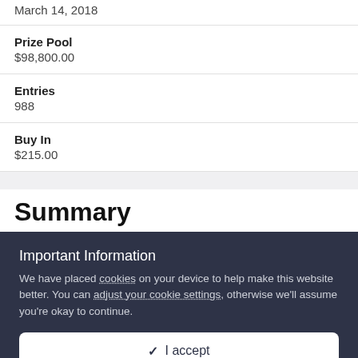March 14, 2018
Prize Pool
$98,800.00
Entries
988
Buy In
$215.00
Summary
Important Information
We have placed cookies on your device to help make this website better. You can adjust your cookie settings, otherwise we'll assume you're okay to continue.
✓  I accept